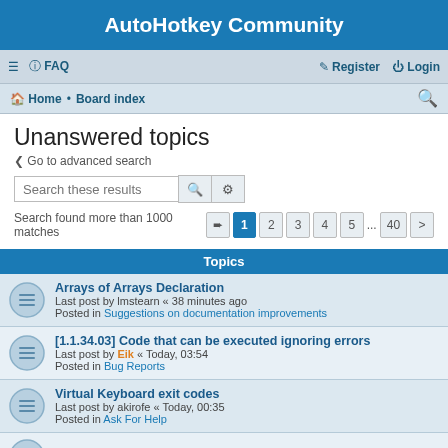AutoHotkey Community
FAQ  Register  Login
Home · Board index
Unanswered topics
< Go to advanced search
Search these results
Search found more than 1000 matches  1  2  3  4  5  ...  40  >
Topics
Arrays of Arrays Declaration
Last post by lmstearn « 38 minutes ago
Posted in Suggestions on documentation improvements
[1.1.34.03] Code that can be executed ignoring errors
Last post by Eik « Today, 03:54
Posted in Bug Reports
Virtual Keyboard exit codes
Last post by akirofe « Today, 00:35
Posted in Ask For Help
Ahk v2 Expected a Number but got a String.